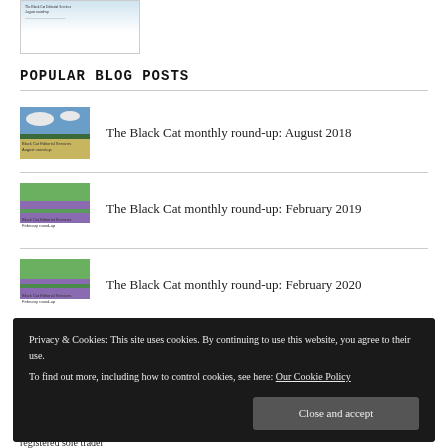[Figure (screenshot): Small thumbnail image of a blog post with text overlay]
POPULAR BLOG POSTS
The Black Cat monthly round-up: August 2018
The Black Cat monthly round-up: February 2019
The Black Cat monthly round-up: February 2020
The Black Cat monthly round-up: November 2020
Privacy & Cookies: This site uses cookies. By continuing to use this website, you agree to their use.
To find out more, including how to control cookies, see here: Our Cookie Policy
Close and accept
registered sole trader